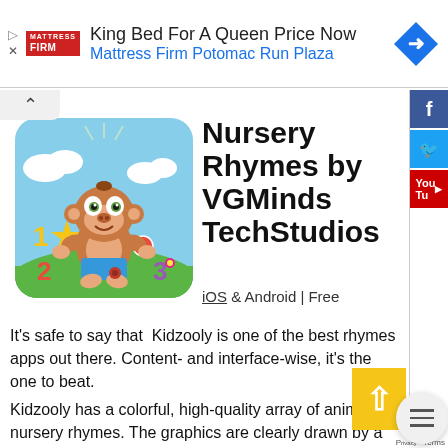[Figure (screenshot): Mattress Firm advertisement banner: logo, 'King Bed For A Queen Price Now', 'Mattress Firm Potomac Run Plaza', blue navigation diamond icon]
[Figure (illustration): Kidzooly app icon: cartoon monkey on green grass with colorful numbers and clouds, rounded square icon]
Nursery Rhymes by VGMinds TechStudios
iOS & Android | Free
It's safe to say that  Kidzooly is one of the best rhymes apps out there. Content- and interface-wise, it's the one to beat.
Kidzooly has a colorful, high-quality array of animated nursery rhymes. The graphics are clearly drawn by a